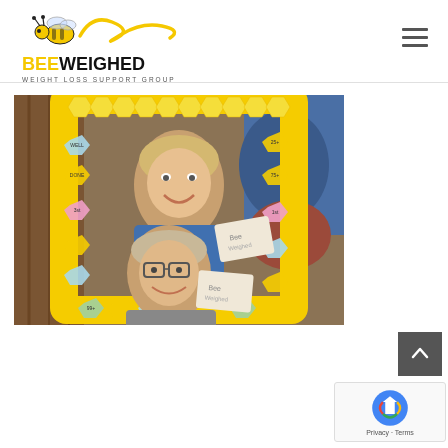[Figure (logo): BeeWeighed Weight Loss Support Group logo with illustrated bee and decorative script text]
[Figure (photo): Two women smiling and posing inside a large yellow honeycomb-decorated photo frame prop with milestone achievement badges]
[Figure (other): Scroll-to-top button (dark grey square with upward arrow)]
[Figure (other): reCAPTCHA widget showing spinning logo and Privacy/Terms links]